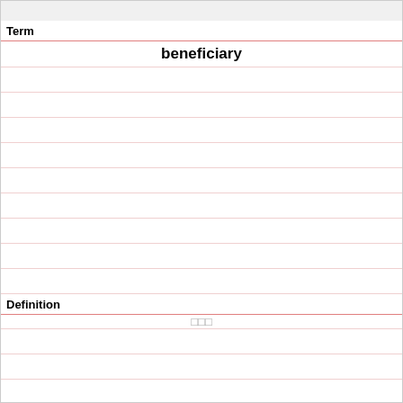Term
beneficiary
Definition
□□□